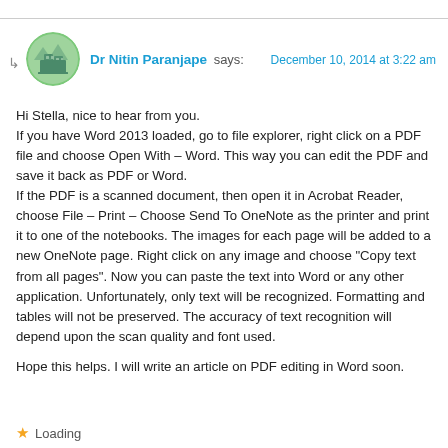Dr Nitin Paranjape says:
December 10, 2014 at 3:22 am
Hi Stella, nice to hear from you.
If you have Word 2013 loaded, go to file explorer, right click on a PDF file and choose Open With – Word. This way you can edit the PDF and save it back as PDF or Word.
If the PDF is a scanned document, then open it in Acrobat Reader, choose File – Print – Choose Send To OneNote as the printer and print it to one of the notebooks. The images for each page will be added to a new OneNote page. Right click on any image and choose "Copy text from all pages". Now you can paste the text into Word or any other application. Unfortunately, only text will be recognized. Formatting and tables will not be preserved. The accuracy of text recognition will depend upon the scan quality and font used.
Hope this helps. I will write an article on PDF editing in Word soon.
Loading